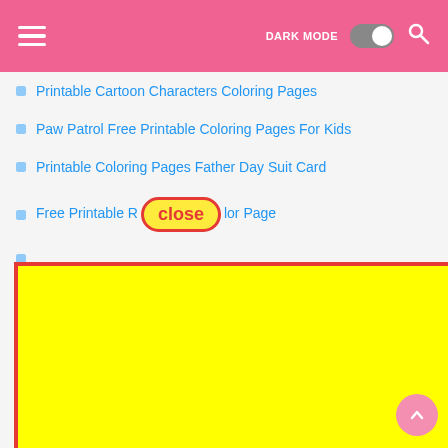DARK MODE [toggle] [search]
Printable Cartoon Characters Coloring Pages
Paw Patrol Free Printable Coloring Pages For Kids
Printable Coloring Pages Father Day Suit Card
Free Printable R[close]lor Page
(partially obscured)
(partially obscured)
(partially obscured)
(partially obscured)
(partially obscured) g Pages
(partially obscured)
(partially obscured)
(partially obscured)
Disney Boss Baby Coloring Pages Free Printables
[Figure (other): Yellow rectangle with red border overlay (advertisement or popup close button UI element)]